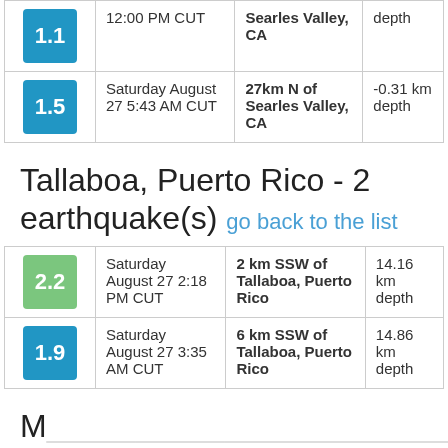| Magnitude | Date/Time | Location | Depth |
| --- | --- | --- | --- |
| 1.1 | 12:00 PM CUT | Searles Valley, CA | depth |
| 1.5 | Saturday August 27 5:43 AM CUT | 27km N of Searles Valley, CA | -0.31 km depth |
Tallaboa, Puerto Rico - 2 earthquake(s) go back to the list
| Magnitude | Date/Time | Location | Depth |
| --- | --- | --- | --- |
| 2.2 | Saturday August 27 2:18 PM CUT | 2 km SSW of Tallaboa, Puerto Rico | 14.16 km depth |
| 1.9 | Saturday August 27 3:35 AM CUT | 6 km SSW of Tallaboa, Puerto Rico | 14.86 km depth |
M... the W... - 2...